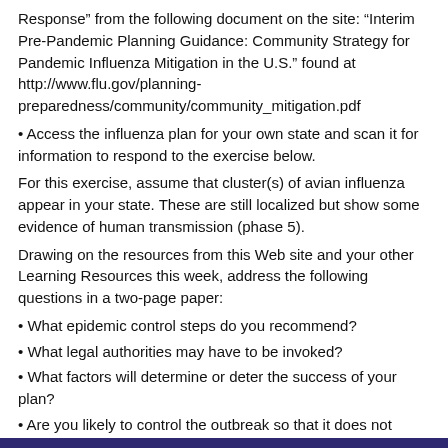Response” from the following document on the site: “Interim Pre-Pandemic Planning Guidance: Community Strategy for Pandemic Influenza Mitigation in the U.S.” found at http://www.flu.gov/planning-preparedness/community/community_mitigation.pdf
Access the influenza plan for your own state and scan it for information to respond to the exercise below.
For this exercise, assume that cluster(s) of avian influenza appear in your state. These are still localized but show some evidence of human transmission (phase 5).
Drawing on the resources from this Web site and your other Learning Resources this week, address the following questions in a two-page paper:
What epidemic control steps do you recommend?
What legal authorities may have to be invoked?
What factors will determine or deter the success of your plan?
Are you likely to control the outbreak so that it does not proceed to the pandemic phase 6?
Would you add anything to the government’s plan, or do you think this is adequate?